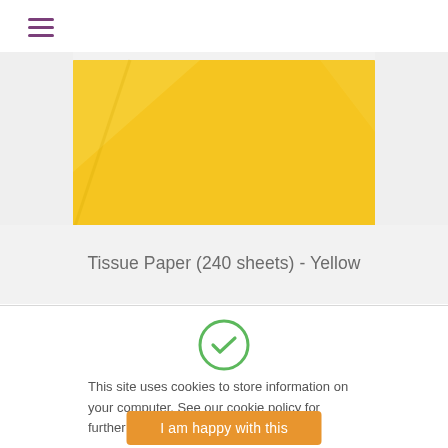☰
[Figure (photo): Close-up photo of yellow tissue paper with subtle folds and sheen]
Tissue Paper (240 sheets) - Yellow
[Figure (illustration): Green circle checkmark icon indicating cookie consent accepted]
This site uses cookies to store information on your computer. See our cookie policy for further details on how to block cookies.
I am happy with this